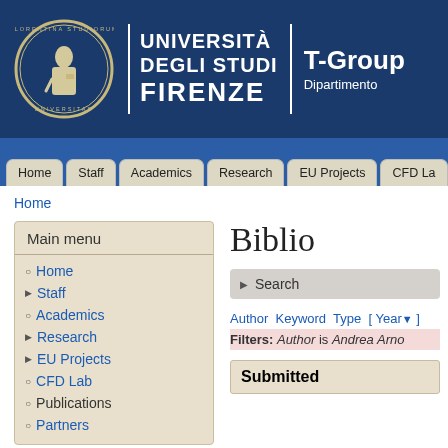[Figure (logo): University of Florence logo with circular seal and university figure]
UNIVERSITÀ DEGLI STUDI FIRENZE | T-Group Dipartimento
Home
Staff
Academics
Research
EU Projects
CFD Lab
Home
Main menu
Home
Staff
Academics
Research
EU Projects
CFD Lab
Publications
Partners
Biblio
Search
Author Keyword Type [ Year▼ ]
Filters: Author is Andrea Arno
Submitted